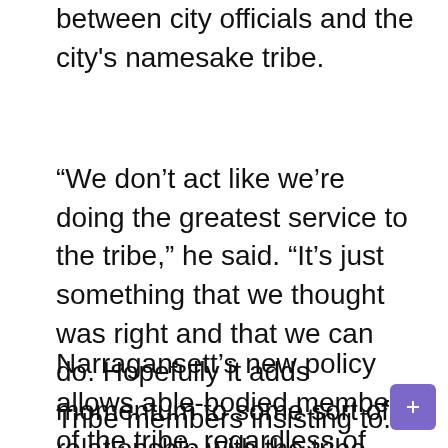between city officials and the city's namesake tribe.
“We don’t act like we’re doing the greatest service to the tribe,” he said. “It’s just something that we thought was right and that we can do. Hopefully it adds momentum to some sort of relationship with the tribe.
Narragansett’s new policy allows able-bodied members of the tribe, regardless of where they live, to get a free season pass. Passes otherwise cost $25 and are only available to residents of the city. The daily rate for non-residents is $12 and is mandatory for anyone over 12 years old.
Tribe members insisting to...